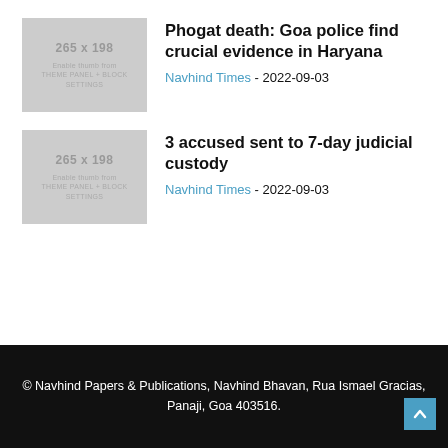[Figure (other): Thumbnail placeholder showing '265 x 198' with text 'Enable thumb from THEME PANEL + BLOCK SETTINGS']
Phogat death: Goa police find crucial evidence in Haryana
Navhind Times - 2022-09-03
[Figure (other): Thumbnail placeholder showing '265 x 198' with text 'Enable thumb from THEME PANEL + BLOCK SETTINGS']
3 accused sent to 7-day judicial custody
Navhind Times - 2022-09-03
© Navhind Papers & Publications, Navhind Bhavan, Rua Ismael Gracias, Panaji, Goa 403516.